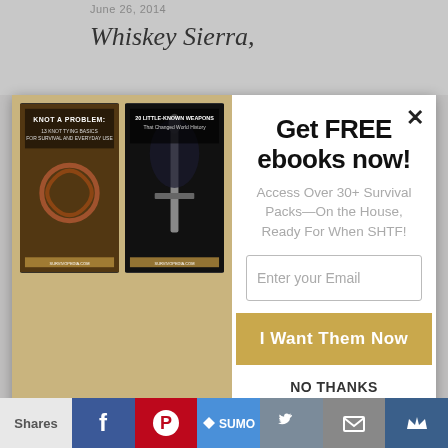June 26, 2014
Whiskey Sierra,
[Figure (screenshot): Modal popup with 4 survival ebook covers on the left (gold background): 'Knot a Problem: 13 Knot Tying Basics for Survival and Everyday Use', '20 Little-Known Weapons That Changed World History', 'How to Take Your Computer Off-Grid', 'Bugging In: Your Top 3 Bug-In Nightmares Solved'. Right panel has headline 'Get FREE ebooks now!', subtext 'Access Over 30+ Survival Packs—On the House, Ready For When SHTF!', email input field, gold CTA button 'I Want Them Now', and 'NO THANKS' link. Close X in top right.]
Shares  [Facebook] [Pinterest] [SUMO] [Twitter] [Mail] [Crown]